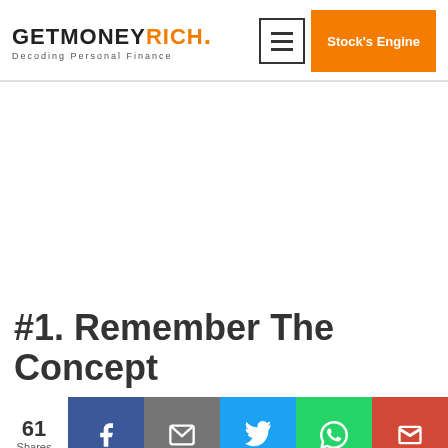GETMONEYRICH. Decoding Personal Finance | Stock's Engine
[Figure (other): White advertisement/blank space area]
#1. Remember The Concept
61 Shares — Share buttons: Facebook, Email, Twitter, WhatsApp, Gmail